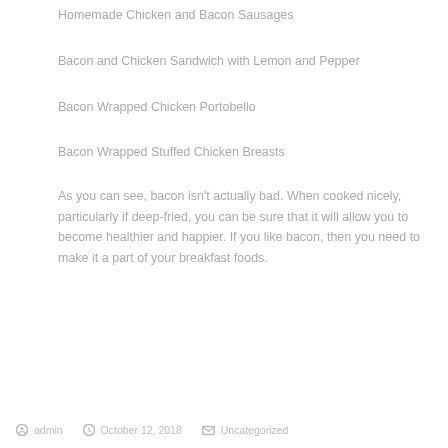Homemade Chicken and Bacon Sausages
Bacon and Chicken Sandwich with Lemon and Pepper
Bacon Wrapped Chicken Portobello
Bacon Wrapped Stuffed Chicken Breasts
As you can see, bacon isn't actually bad. When cooked nicely, particularly if deep-fried, you can be sure that it will allow you to become healthier and happier. If you like bacon, then you need to make it a part of your breakfast foods.
admin   October 12, 2018   Uncategorized